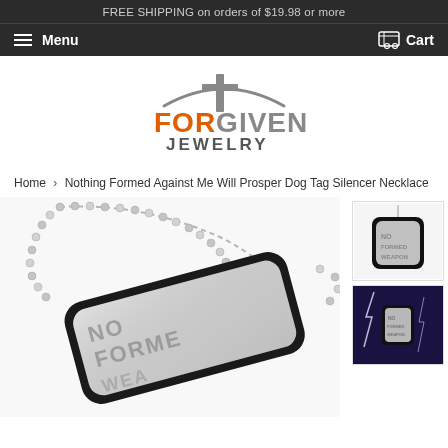FREE SHIPPING on orders of $19.98 or more
Menu  Cart
[Figure (logo): Forgiven Jewelry logo with cross symbol above text FORGIVEN JEWELRY in orange and gray]
Home › Nothing Formed Against Me Will Prosper Dog Tag Silencer Necklace
[Figure (photo): Main product photo of a military-style dog tag necklace with black silencer rubber edging, ball chain, text NO FORMED WEA visible on tag]
[Figure (photo): Thumbnail of dog tag with black silencer on white background]
[Figure (photo): Thumbnail of dog tag with lightning storm background]